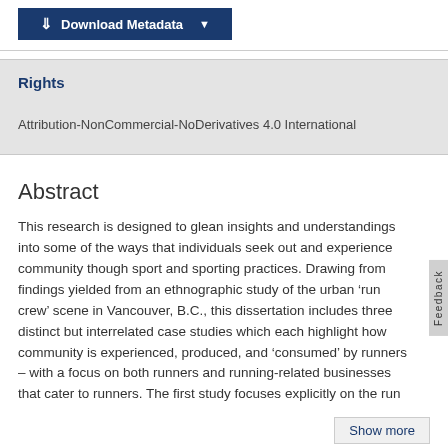[Figure (other): Download Metadata button bar with dark blue button and dropdown arrow]
Rights
Attribution-NonCommercial-NoDerivatives 4.0 International
Abstract
This research is designed to glean insights and understandings into some of the ways that individuals seek out and experience community though sport and sporting practices. Drawing from findings yielded from an ethnographic study of the urban ‘run crew’ scene in Vancouver, B.C., this dissertation includes three distinct but interrelated case studies which each highlight how community is experienced, produced, and ‘consumed’ by runners – with a focus on both runners and running-related businesses that cater to runners. The first study focuses explicitly on the run